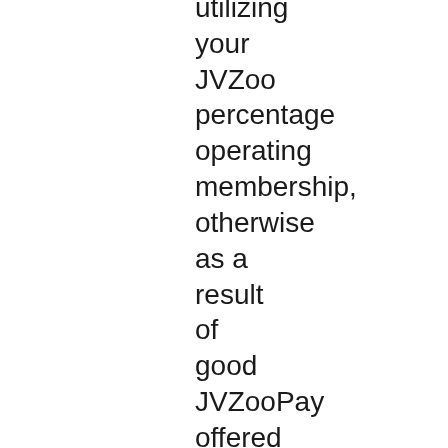utilizing your JVZoo percentage operating membership, otherwise as a result of good JVZooPay offered commission handling, utilizing your JVZooPay served payment processing membership, and therefore are subject